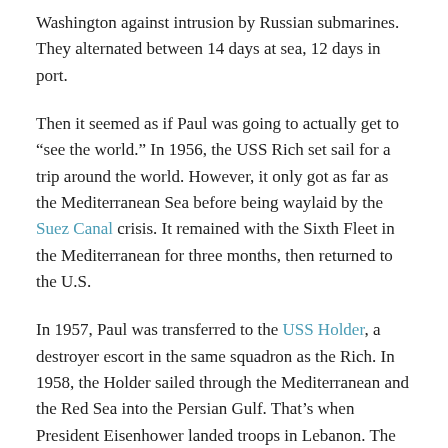Washington against intrusion by Russian submarines. They alternated between 14 days at sea, 12 days in port.
Then it seemed as if Paul was going to actually get to “see the world.” In 1956, the USS Rich set sail for a trip around the world. However, it only got as far as the Mediterranean Sea before being waylaid by the Suez Canal crisis. It remained with the Sixth Fleet in the Mediterranean for three months, then returned to the U.S.
In 1957, Paul was transferred to the USS Holder, a destroyer escort in the same squadron as the Rich. In 1958, the Holder sailed through the Mediterranean and the Red Sea into the Persian Gulf. That’s when President Eisenhower landed troops in Lebanon. The Holder remained in the Persian Gulf for 62 days. That’s a long time for a destroyer to remain at sea.
“We had no place to get fresh provisions or anything,” Paul said. “At the end of that time we were about out of food. We